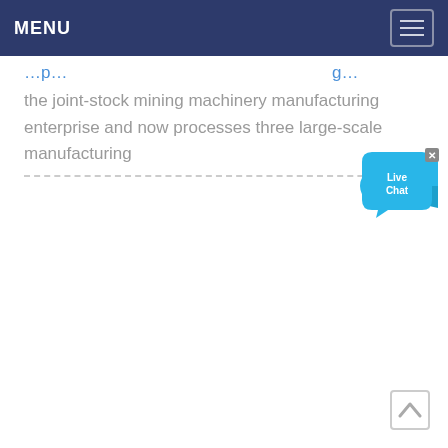MENU
the joint-stock mining machinery manufacturing enterprise and now processes three large-scale manufacturing
[Figure (other): Live Chat widget — a blue speech bubble with 'Live Chat' text and a fish icon, plus a close (x) button]
[Figure (other): Back-to-top chevron arrow button in the bottom right corner]